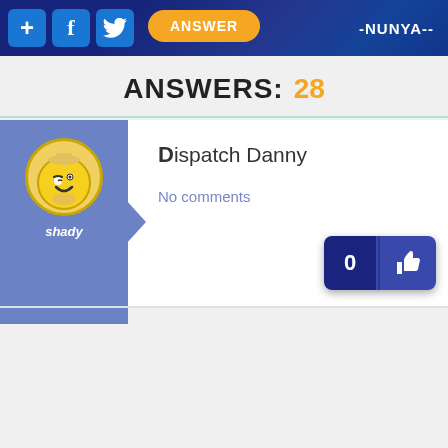+ f [twitter] ANSWER -NUNYA--
ANSWERS: 28
Dispatch Danny
No comments
0